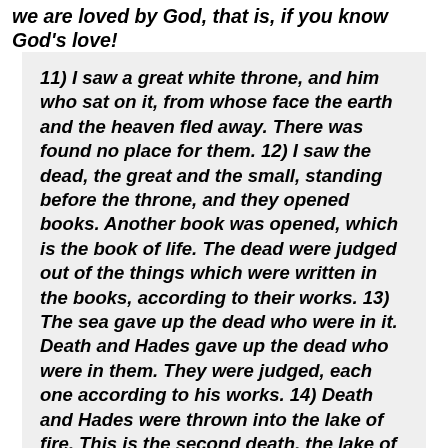we are loved by God, that is, if you know God's love!
11) I saw a great white throne, and him who sat on it, from whose face the earth and the heaven fled away. There was found no place for them. 12) I saw the dead, the great and the small, standing before the throne, and they opened books. Another book was opened, which is the book of life. The dead were judged out of the things which were written in the books, according to their works. 13) The sea gave up the dead who were in it. Death and Hades gave up the dead who were in them. They were judged, each one according to his works. 14) Death and Hades were thrown into the lake of fire. This is the second death, the lake of fire. 15)